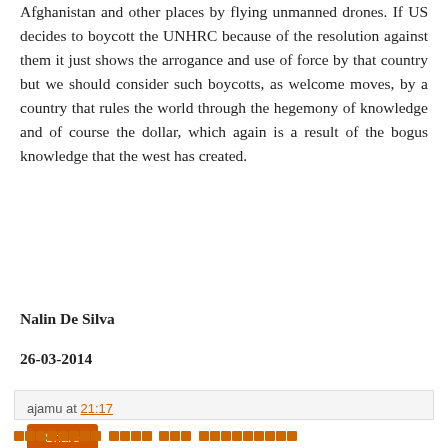Afghanistan and other places by flying unmanned drones. If US decides to boycott the UNHRC because of the resolution against them it just shows the arrogance and use of force by that country but we should consider such boycotts, as welcome moves, by a country that rules the world through the hegemony of knowledge and of course the dollar, which again is a result of the bogus knowledge that the west has created.
Nalin De Silva
26-03-2014
ajamu at 21:17
Share